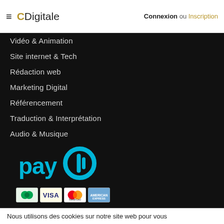CDigitale | Connexion ou Inscription
Vidéo & Animation
Site internet & Tech
Rédaction web
Marketing Digital
Référencement
Traduction & Interprétation
Audio & Musique
[Figure (logo): Paylib payment service logo in cyan/blue colors]
[Figure (logo): Payment card logos: CB, VISA, MasterCard, American Express]
Nous utilisons des cookies sur notre site web pour vous